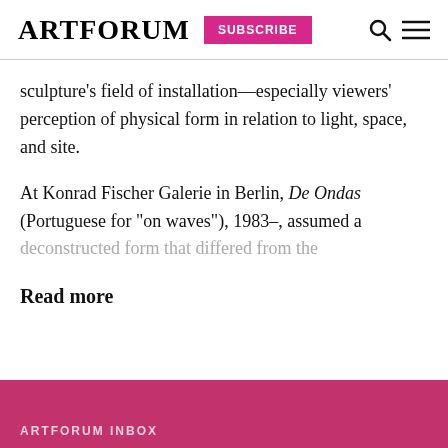ARTFORUM | SUBSCRIBE
sculpture's field of installation—especially viewers' perception of physical form in relation to light, space, and site.
At Konrad Fischer Galerie in Berlin, De Ondas (Portuguese for “on waves”), 1983–, assumed a deconstructed form that differed from the
Read more
ARTFORUM INBOX